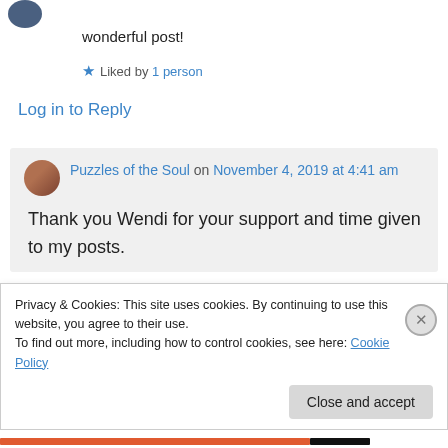[Figure (photo): User avatar circle, dark blue/teal color, partially visible at top left]
wonderful post!
★ Liked by 1 person
Log in to Reply
[Figure (photo): Small circular avatar photo of a woman with brown hair]
Puzzles of the Soul on November 4, 2019 at 4:41 am
Thank you Wendi for your support and time given to my posts.
Privacy & Cookies: This site uses cookies. By continuing to use this website, you agree to their use.
To find out more, including how to control cookies, see here: Cookie Policy
Close and accept